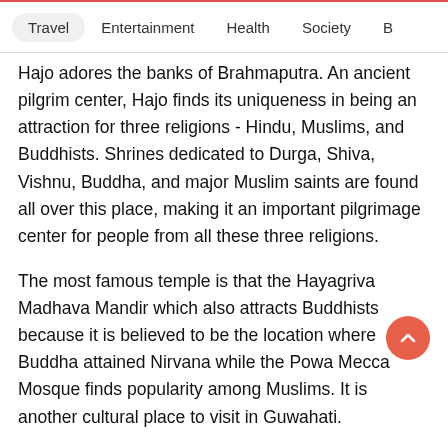Travel  Entertainment  Health  Society  B
Hajo adores the banks of Brahmaputra. An ancient pilgrim center, Hajo finds its uniqueness in being an attraction for three religions - Hindu, Muslims, and Buddhists. Shrines dedicated to Durga, Shiva, Vishnu, Buddha, and major Muslim saints are found all over this place, making it an important pilgrimage center for people from all these three religions.
The most famous temple is that the Hayagriva Madhava Mandir which also attracts Buddhists because it is believed to be the location where Buddha attained Nirvana while the Powa Mecca Mosque finds popularity among Muslims. It is another cultural place to visit in Guwahati.